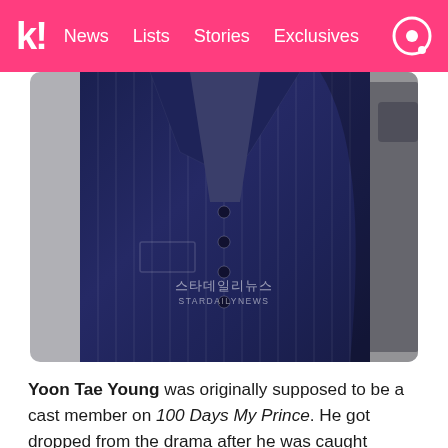k! News Lists Stories Exclusives
[Figure (photo): A person wearing a navy blue pinstripe suit, torso and lower body visible, with a StarDailyNews watermark in Korean and English in the center of the image.]
Yoon Tae Young was originally supposed to be a cast member on 100 Days My Prince. He got dropped from the drama after he was caught driving under the influence of alcohol.